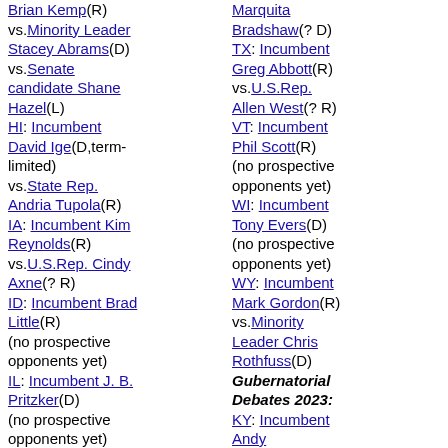Brian Kemp(R) vs.Minority Leader Stacey Abrams(D) vs.Senate candidate Shane Hazel(L) HI: Incumbent David Ige(D,term-limited) vs.State Rep. Andria Tupola(R) IA: Incumbent Kim Reynolds(R) vs.U.S.Rep. Cindy Axne(? R) ID: Incumbent Brad Little(R) (no prospective opponents yet) IL: Incumbent J. B. Pritzker(D) (no prospective opponents yet) KS: Incumbent Laura Kelly(D) (no prospective opponents yet) MA: Incumbent Charlie Baker(R) vs.Harvard Professor Danielle Allen(D)
Marquita Bradshaw(? D) TX: Incumbent Greg Abbott(R) vs.U.S.Rep. Allen West(? R) VT: Incumbent Phil Scott(R) (no prospective opponents yet) WI: Incumbent Tony Evers(D) (no prospective opponents yet) WY: Incumbent Mark Gordon(R) vs.Minority Leader Chris Rothfuss(D) Gubernatorial Debates 2023: KY: Incumbent Andy Beshear(D) vs.Former Gov. Matt Bevin(? R) Senator Rand Paul(? R) LA: Incumbent John Bel Edwards(D,term-